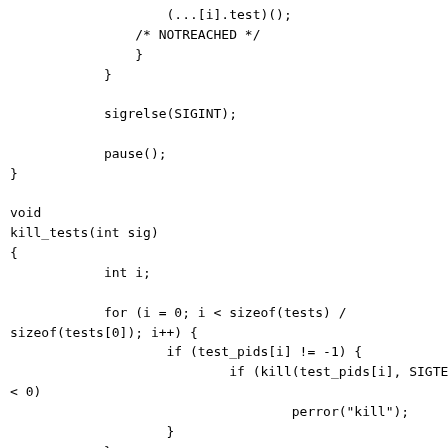(...[i].test)();
            /* NOTREACHED */
                }
            }

            sigrelse(SIGINT);

            pause();
}

void
kill_tests(int sig)
{
            int i;

            for (i = 0; i < sizeof(tests) /
sizeof(tests[0]); i++) {
                    if (test_pids[i] != -1) {
                            if (kill(test_pids[i], SIGTERM)
< 0)
                                    perror("kill");
                    }
            }

            exit(0);
}

void
check_error(int error, char *operation)
{